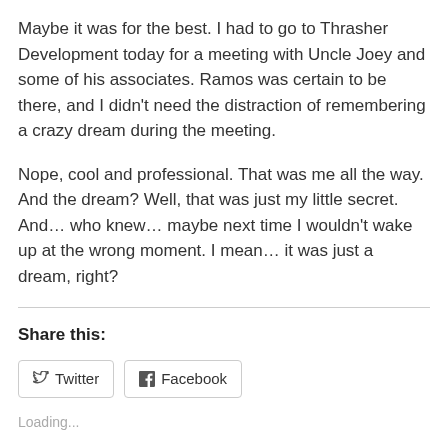Maybe it was for the best. I had to go to Thrasher Development today for a meeting with Uncle Joey and some of his associates. Ramos was certain to be there, and I didn't need the distraction of remembering a crazy dream during the meeting.
Nope, cool and professional. That was me all the way. And the dream? Well, that was just my little secret. And… who knew… maybe next time I wouldn't wake up at the wrong moment. I mean… it was just a dream, right?
Share this:
Loading...